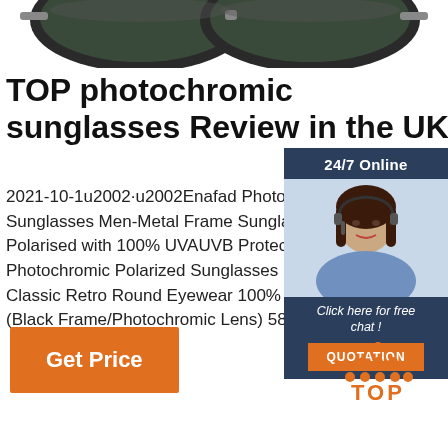[Figure (photo): Partial view of sunglasses frames at top of page]
TOP photochromic sunglasses Review in the UK
2021-10-1u2002·u2002Enafad Photochromic Sunglasses Men-Metal Frame Sunglasses Polarised with 100% UVAUVB Protection. Photochromic Polarized Sunglasses Unisex Classic Retro Round Eyewear 100% UV Protection (Black Frame/Photochromic Lens) 58.
[Figure (photo): Customer service agent with headset smiling, with 24/7 Online banner, Click here for free chat text, and QUOTATION button on dark blue background]
[Figure (other): Orange Get Price button]
[Figure (logo): TOP logo with orange dots arranged in triangle above orange TOP text]